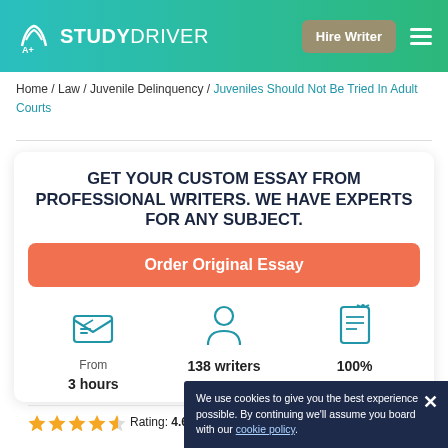STUDYDRIVER — Hire Writer
Home / Law / Juvenile Delinquency / Juveniles Should Not Be Tried In Adult Courts
GET YOUR CUSTOM ESSAY FROM PROFESSIONAL WRITERS. WE HAVE EXPERTS FOR ANY SUBJECT.
Order Original Essay
From 3 hours
138 writers online
100% plagiarism free
Rating: 4.6/5
Views: 1187
Orders: 24
We use cookies to give you the best experience possible. By continuing we'll assume you board with our cookie policy.